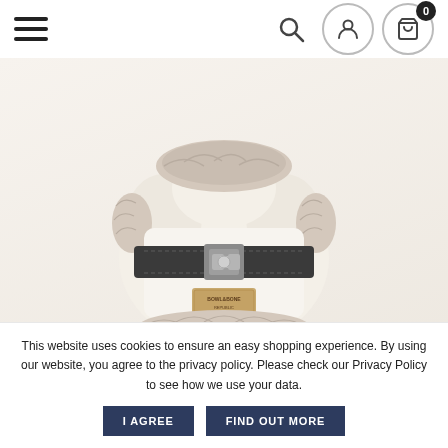Navigation header with hamburger menu, search icon, user icon, and cart icon with badge 0
[Figure (photo): Close-up photo of a dog harness named YETI cream — white padded body with faux fur trim in beige/taupe and a dark charcoal strap with a silver metal buckle, and a Bowl&Bone Republic brand leather label tag]
dog harness
YETI cream
This website uses cookies to ensure an easy shopping experience. By using our website, you agree to the privacy policy. Please check our Privacy Policy to see how we use your data.